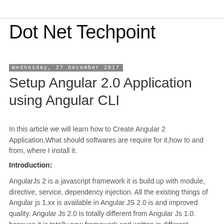Dot Net Techpoint
Wednesday, 27 December 2017
Setup Angular 2.0 Application using Angular CLI
In this article we will learn how to Create Angular 2 Application,What should softwares are require for it,how to and from, where I install it.
Introduction:
AngularJs 2 is a javascript framework it is build up with module, directive, service, dependency injection. All the existing things of Angular js 1.xx is available in Angular JS 2.0 is and improved quality. Angular Js 2.0 is totally different from Angular Js 1.0. because it is totally new framework and written in different language (TypeScript).